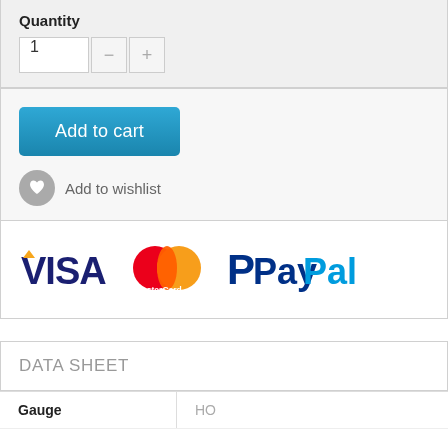Quantity
[Figure (screenshot): Quantity input field showing '1' with minus and plus buttons]
[Figure (screenshot): Blue 'Add to cart' button and 'Add to wishlist' link with heart icon]
[Figure (logo): Payment method logos: VISA, MasterCard, PayPal]
DATA SHEET
| Gauge |  |
| --- | --- |
| Gauge | HO |